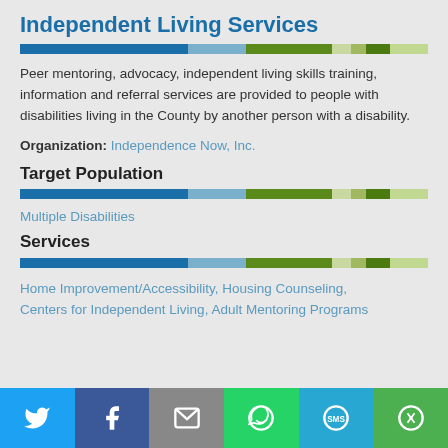Independent Living Services
Peer mentoring, advocacy, independent living skills training, information and referral services are provided to people with disabilities living in the County by another person with a disability.
Organization: Independence Now, Inc.
Target Population
Multiple Disabilities
Services
Home Improvement/Accessibility, Housing Counseling, Centers for Independent Living, Adult Mentoring Programs
Social share bar: Twitter, Facebook, Email, WhatsApp, SMS, More